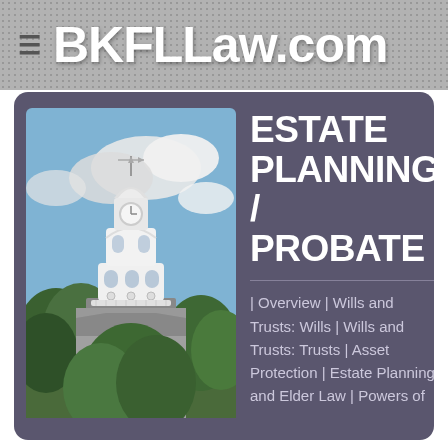BKFLLaw.com
ESTATE PLANNING / PROBATE
[Figure (photo): Photograph of a white church or courthouse cupola/bell tower with a weather vane on top, surrounded by green trees against a partly cloudy sky.]
| Overview | Wills and Trusts: Wills | Wills and Trusts: Trusts | Asset Protection | Estate Planning and Elder Law | Powers of